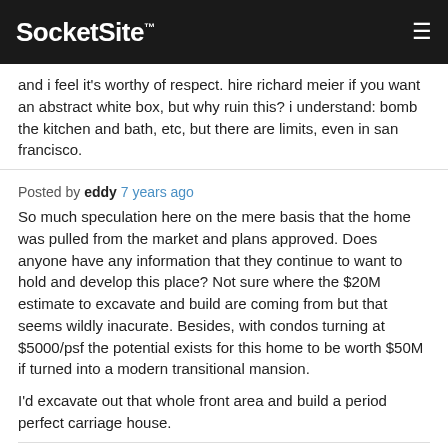SocketSite™
and i feel it's worthy of respect. hire richard meier if you want an abstract white box, but why ruin this? i understand: bomb the kitchen and bath, etc, but there are limits, even in san francisco.
Posted by eddy 7 years ago
So much speculation here on the mere basis that the home was pulled from the market and plans approved. Does anyone have any information that they continue to want to hold and develop this place? Not sure where the $20M estimate to excavate and build are coming from but that seems wildly inacurate. Besides, with condos turning at $5000/psf the potential exists for this home to be worth $50M if turned into a modern transitional mansion.
I'd excavate out that whole front area and build a period perfect carriage house.
Posted by Denis 7 years ago
If they excavate and add even 5k square feet, it's going to be insanely expensive considering the blasting and insane amount of shoring this project will take. Assuming they hire Van Acker (because reasons,) it'll cost well over 1k per foot. That's an easy $8...